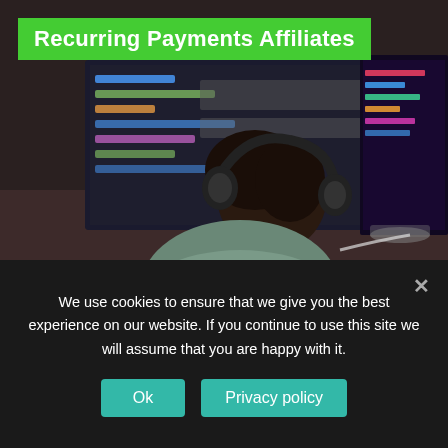Recurring Payments Affiliates
[Figure (photo): Person wearing large headphones sitting at a desk with multiple computer monitors showing code/colorful screens, seen from behind, in a dark toned environment.]
Meet the World's #1 All-in-One Referral Software Acquire more of your best customers, faster, by
We use cookies to ensure that we give you the best experience on our website. If you continue to use this site we will assume that you are happy with it.
Ok
Privacy policy